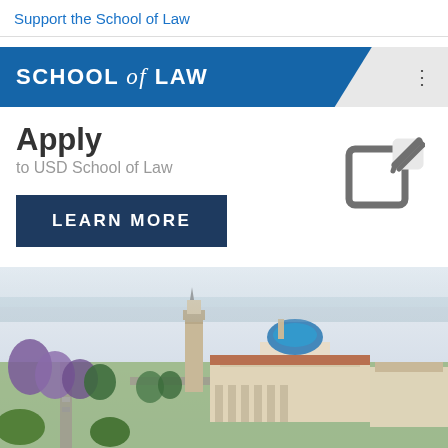Support the School of Law
SCHOOL of LAW
Apply
to USD School of Law
LEARN MORE
[Figure (illustration): Edit/write icon - square with pencil overlay, gray color]
[Figure (photo): Aerial photograph of USD (University of San Diego) campus showing the Immaculata church with blue dome, bell tower, Spanish colonial architecture buildings, tree-lined streets with jacaranda trees in bloom, and San Diego bay visible in the background]